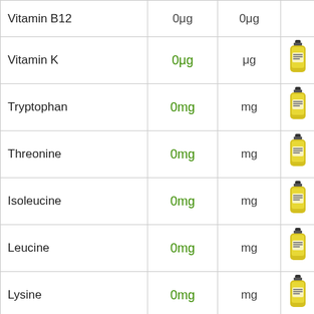| Nutrient | Value1 | Value2 | Image |
| --- | --- | --- | --- |
| Vitamin B12 | 0μg | 0μg |  |
| Vitamin K | 0μg | μg | [bottle] |
| Tryptophan | 0mg | mg | [bottle] |
| Threonine | 0mg | mg | [bottle] |
| Isoleucine | 0mg | mg | [bottle] |
| Leucine | 0mg | mg | [bottle] |
| Lysine | 0mg | mg | [bottle] |
| Methionine | 0mg | mg | [bottle] |